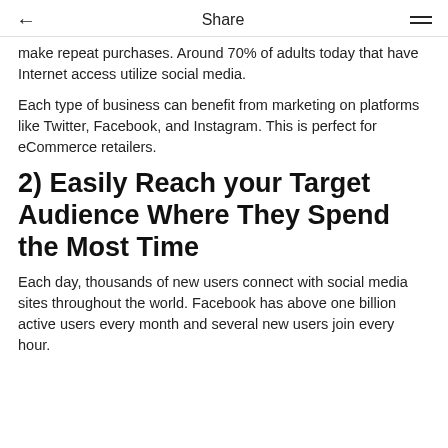← Share ≡
make repeat purchases. Around 70% of adults today that have Internet access utilize social media.
Each type of business can benefit from marketing on platforms like Twitter, Facebook, and Instagram. This is perfect for eCommerce retailers.
2) Easily Reach your Target Audience Where They Spend the Most Time
Each day, thousands of new users connect with social media sites throughout the world. Facebook has above one billion active users every month and several new users join every hour.